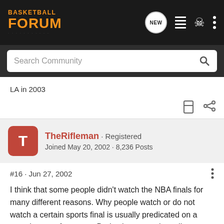[Figure (screenshot): Basketball Forum website top navigation bar with logo, NEW chat icon, list icon, person icon, and three-dot menu icon on dark background]
[Figure (screenshot): Search Community search bar on dark grey background]
LA in 2003
[Figure (screenshot): Bookmark and share action icons]
TheRifleman · Registered
Joined May 20, 2002 · 8,236 Posts
#16 · Jun 27, 2002
I think that some people didn't watch the NBA finals for many different reasons. Why people watch or do not watch a certain sports final is usually predicated on a complex set of reasons. Deductive reasoning tells me that is far closer to the truth than for one reason alone, such as, "the Lakers are bad for the